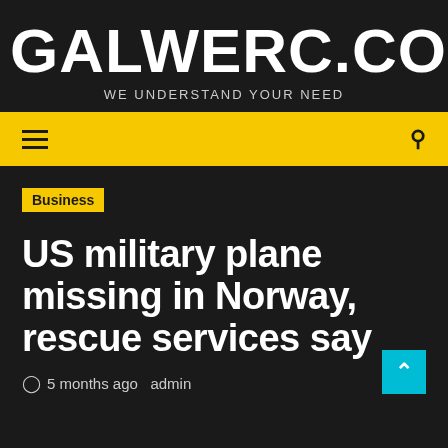GALWERC.COM
WE UNDERSTAND YOUR NEED
≡  🔍
Business
US military plane missing in Norway, rescue services say
5 months ago  admin